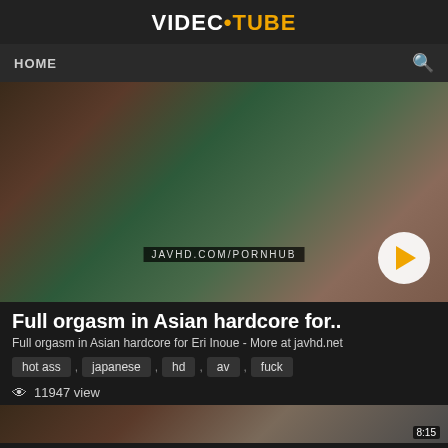VIDEC•TUBE
HOME
[Figure (screenshot): Video thumbnail showing adult content with play button overlay and JAVHD.COM/PORNHUB watermark]
Full orgasm in Asian hardcore for..
Full orgasm in Asian hardcore for Eri Inoue - More at javhd.net
hot ass , japanese , hd , av , fuck
11947 view
[Figure (screenshot): Partial video thumbnail at bottom of page with duration 8:15]